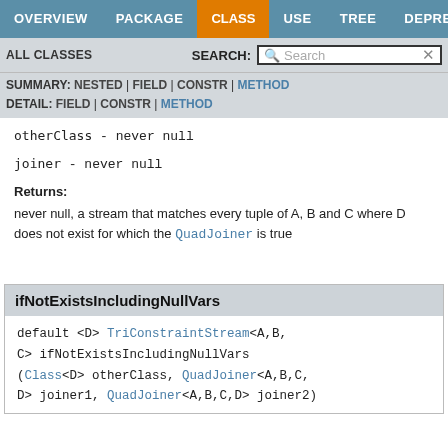OVERVIEW | PACKAGE | CLASS | USE | TREE | DEPRECATED
ALL CLASSES   SEARCH: Search
SUMMARY: NESTED | FIELD | CONSTR | METHOD
DETAIL: FIELD | CONSTR | METHOD
otherClass - never null
joiner - never null
Returns:
never null, a stream that matches every tuple of A, B and C where D does not exist for which the QuadJoiner is true
ifNotExistsIncludingNullVars
default <D> TriConstraintStream<A,B,C> ifNotExistsIncludingNullVars(Class<D> otherClass, QuadJoiner<A,B,C,D> joiner1, QuadJoiner<A,B,C,D> joiner2)